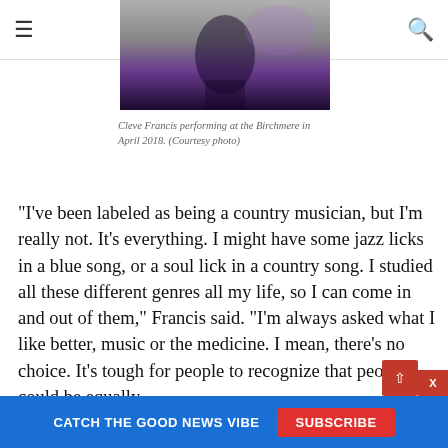Zebra
[Figure (photo): Cleve Francis performing at the Birchmere, stage photo with purple lighting]
Cleve Francis performing at the Birchmere in April 2018. (Courtesy photo)
“I’ve been labeled as being a country musician, but I’m really not. It’s everything. I might have some jazz licks in a blue song, or a soul lick in a country song. I studied all these different genres all my life, so I can come in and out of them,” Francis said. “I’m always asked what I like better, music or the medicine. I mean, there’s no choice. It’s tough for people to recognize that people could be equally
CATCH THE GOOD NEWS VIBE  SUBSCRIBE